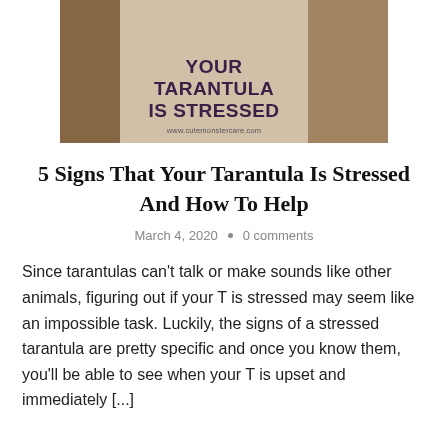[Figure (illustration): Blog post hero image showing a tarantula with text overlay reading 'YOUR TARANTULA IS STRESSED' in bold purple uppercase letters on a semi-transparent background, with url www.cutemonstercare.com below]
5 Signs That Your Tarantula Is Stressed And How To Help
March 4, 2020  •  0 comments
Since tarantulas can't talk or make sounds like other animals, figuring out if your T is stressed may seem like an impossible task. Luckily, the signs of a stressed tarantula are pretty specific and once you know them, you'll be able to see when your T is upset and immediately [...]